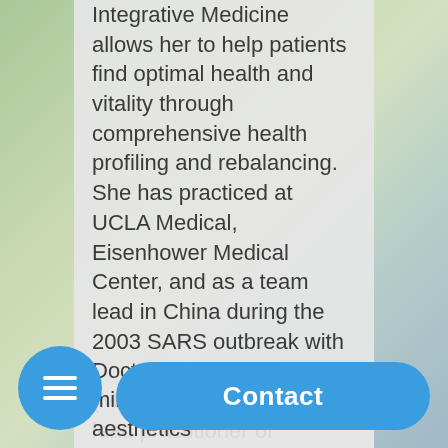Integrative Medicine allows her to help patients find optimal health and vitality through comprehensive health profiling and rebalancing. She has practiced at UCLA Medical, Eisenhower Medical Center, and as a team lead in China during the 2003 SARS outbreak with Doctors without Borders (MSF). As the founder and lead practitioner of Wellness, Longevity and Aesthetics, Dr. Wang speaks globally, advocating for natural p... minimally invasive aesthetics
Contact